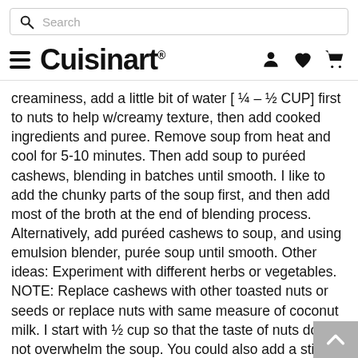Search
[Figure (logo): Cuisinart logo with hamburger menu icon on left and user/heart/cart icons on right]
creaminess, add a little bit of water [ ¼ – ½ CUP] first to nuts to help w/creamy texture, then add cooked ingredients and puree. Remove soup from heat and cool for 5-10 minutes. Then add soup to puréed cashews, blending in batches until smooth. I like to add the chunky parts of the soup first, and then add most of the broth at the end of blending process. Alternatively, add puréed cashews to soup, and using emulsion blender, purée soup until smooth. Other ideas: Experiment with different herbs or vegetables. NOTE: Replace cashews with other toasted nuts or seeds or replace nuts with same measure of coconut milk. I start with ½ cup so that the taste of nuts does not overwhelm the soup. You could also add a stick of